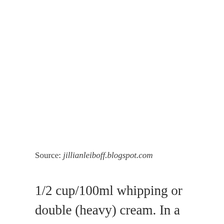Source: jillianleiboff.blogspot.com
1/2 cup/100ml whipping or double (heavy) cream. In a large bowl whisk ground almonds, desiccated coconut, cinnamon and sea salt.